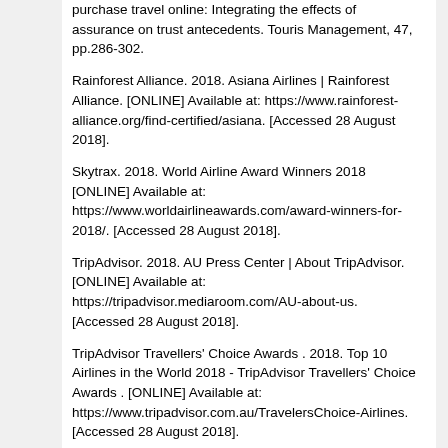purchase travel online: Integrating the effects of assurance on trust antecedents. Touris Management, 47, pp.286-302.
Rainforest Alliance. 2018. Asiana Airlines | Rainforest Alliance. [ONLINE] Available at: https://www.rainforest-alliance.org/find-certified/asiana. [Accessed 28 August 2018].
Skytrax. 2018. World Airline Award Winners 2018 [ONLINE] Available at: https://www.worldairlineawards.com/award-winners-for-2018/. [Accessed 28 August 2018].
TripAdvisor. 2018. AU Press Center | About TripAdvisor. [ONLINE] Available at: https://tripadvisor.mediaroom.com/AU-about-us. [Accessed 28 August 2018].
TripAdvisor Travellers' Choice Awards . 2018. Top 10 Airlines in the World 2018 - TripAdvisor Travellers' Choice Awards . [ONLINE] Available at: https://www.tripadvisor.com.au/TravelersChoice-Airlines. [Accessed 28 August 2018].
Viot, C., 2012. Subjective knowledge, product attributes and consideration set: a wine application. International Journal of Wine Business Research, 24(3), pp.219-248.
Verma, V.K. and Chandra, B., 2016. Hotel guest's perception and choice dynamics for green hotel attribute: A mix method approach. Indian Journal of Science and Technology, 9(5),